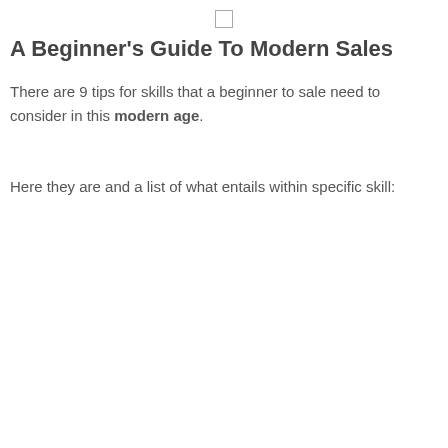A Beginner's Guide To Modern Sales
There are 9 tips for skills that a beginner to sale need to consider in this modern age.
Here they are and a list of what entails within specific skill: